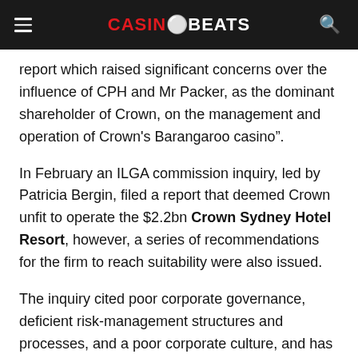CASINOBEATS
report which raised significant concerns over the influence of CPH and Mr Packer, as the dominant shareholder of Crown, on the management and operation of Crown's Barangaroo casino".
In February an ILGA commission inquiry, led by Patricia Bergin, filed a report that deemed Crown unfit to operate the $2.2bn Crown Sydney Hotel Resort, however, a series of recommendations for the firm to reach suitability were also issued.
The inquiry cited poor corporate governance, deficient risk-management structures and processes, and a poor corporate culture, and has subsequently spawned the launch of investigations within the states of Victoria and Western